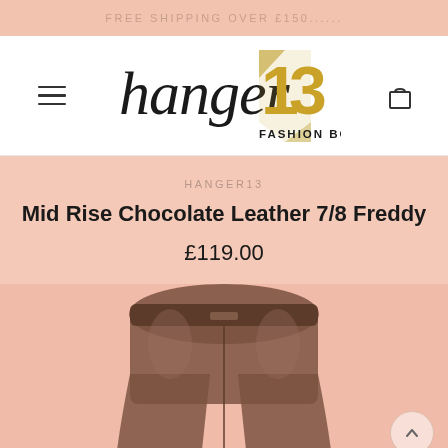FREE SHIPPING OVER £150......
[Figure (logo): Hanger 13 Fashion Boutique logo with cursive 'hanger' text and gold stylized '13' numeral, with 'FASHION BOUTIQUE' in uppercase]
HANGER13
Mid Rise Chocolate Leather 7/8 Freddy
£119.00
[Figure (photo): Close-up product photo of chocolate brown leather high-waisted pants/leggings on a model, shown from waist down against a pink background]